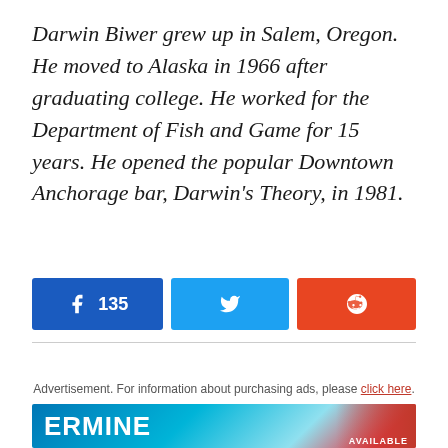Darwin Biwer grew up in Salem, Oregon. He moved to Alaska in 1966 after graduating college. He worked for the Department of Fish and Game for 15 years. He opened the popular Downtown Anchorage bar, Darwin's Theory, in 1981.
[Figure (infographic): Social share buttons: Facebook with count 135, Twitter, and Reddit]
Advertisement. For information about purchasing ads, please click here.
[Figure (photo): Advertisement banner showing text ERMINE with ski/outdoor imagery and AVAILABLE text]